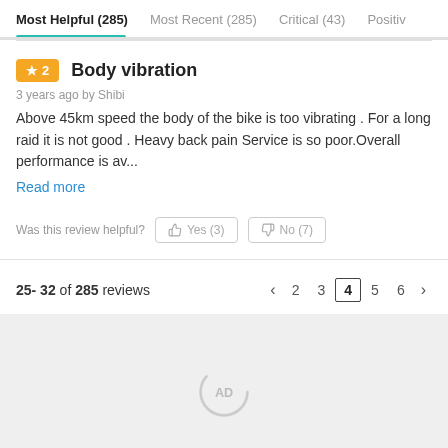Most Helpful (285)   Most Recent (285)   Critical (43)   Positiv…
★2  Body vibration
3 years ago by Shibi
Above 45km speed the body of the bike is too vibrating . For a long raid it is not good . Heavy back pain Service is so poor.Overall performance is av...
Read more
Was this review helpful?  Yes (3)  No (7)
25- 32 of 285 reviews   < 2 3 4 5 6 >
[Figure (other): Advertisement placeholder area with AD logo/spinner icon]